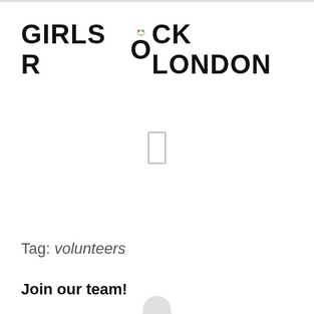[Figure (logo): Girls Rock London logo in bold black text with a decorative flower/globe icon replacing the O in ROCK]
[Figure (illustration): A small rectangle outline placeholder graphic centered on the page]
[Figure (illustration): A silhouette/placeholder person icon (head and body circles in light grey) centered on the page]
Tag: volunteers
Join our team!